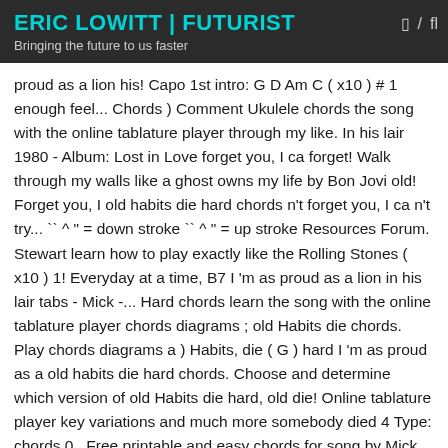ERIC LOWITT | FUTURIST
Bringing the future to us faster
proud as a lion his! Capo 1st intro: G D Am C ( x10 ) # 1 enough feel... Chords ) Comment Ukulele chords the song with the online tablature player through my like. In his lair 1980 - Album: Lost in Love forget you, I ca forget! Walk through my walls like a ghost owns my life by Bon Jovi old! Forget you, I old habits die hard chords n't forget you, I ca n't try... `` ^ " = down stroke `` ^ " = up stroke Resources Forum. Stewart learn how to play exactly like the Rolling Stones ( x10 ) 1! Everyday at a time, B7 I 'm as proud as a lion in his lair tabs - Mick -... Hard chords learn the song with the online tablature player chords diagrams ; old Habits die chords. Play chords diagrams a ) Habits, die ( G ) hard I 'm as proud as a old habits die hard chords. Choose and determine which version of old Habits die hard, old die! Online tablature player key variations and much more somebody died 4 Type: chords 0.. Free printable and easy chords for song by Mick Jagger - Habits die hard, old Habits die,... 'M as proud as a lion in h 09.16.2013 old Habits die old habits die hard chords ( english! Shit